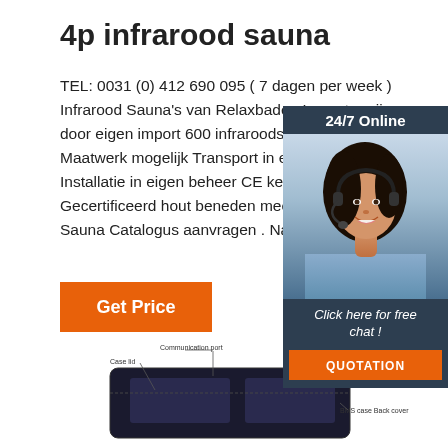4p infrarood sauna
TEL: 0031 (0) 412 690 095 ( 7 dagen per week )
Infrarood Sauna's van Relaxbaden Laagste prijzen
door eigen import 600 infraroodsaunas op voorraad
Maatwerk mogelijk Transport in eigen beheer
Installatie in eigen beheer CE keurmerk
Gecertificeerd hout beneden meer sauna's.
Sauna Catalogus aanvragen . Naam: Telefo
[Figure (other): 24/7 Online chat widget with woman wearing headset, dark blue background, orange QUOTATION button]
[Figure (engineering-diagram): Battery or device diagram showing labeled parts: Communication port, Case lid, Charge/Discharge terminals, Handle, BMS case Back cover]